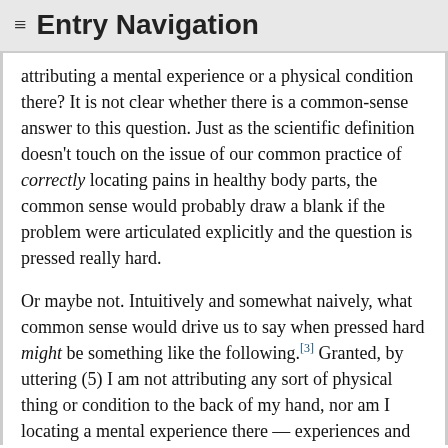≡ Entry Navigation
attributing a mental experience or a physical condition there? It is not clear whether there is a common-sense answer to this question. Just as the scientific definition doesn't touch on the issue of our common practice of correctly locating pains in healthy body parts, the common sense would probably draw a blank if the problem were articulated explicitly and the question is pressed really hard.
Or maybe not. Intuitively and somewhat naively, what common sense would drive us to say when pressed hard might be something like the following.[3] Granted, by uttering (5) I am not attributing any sort of physical thing or condition to the back of my hand, nor am I locating a mental experience there — experiences and sensations are strictly speaking in the head if they are anywhere. But when I attend to my hand with my mind's inner eye, so to speak, I clearly feel something there. I can introspectively examine different qualities of that thing such as its sharpness, volume, intensity, unpleasantness, burning